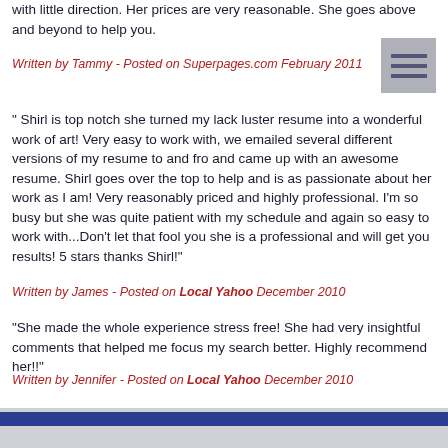with little direction. Her prices are very reasonable. She goes above and beyond to help you.
Written by Tammy - Posted on Superpages.com February 2011
[Figure (other): Menu/hamburger icon with three horizontal lines on grey background]
" Shirl is top notch she turned my lack luster resume into a wonderful work of art! Very easy to work with, we emailed several different versions of my resume to and fro and came up with an awesome resume. Shirl goes over the top to help and is as passionate about her work as I am! Very reasonably priced and highly professional. I'm so busy but she was quite patient with my schedule and again so easy to work with...Don't let that fool you she is a professional and will get you results! 5 stars thanks Shirl!"
Written by James - Posted on Local Yahoo December 2010
"She made the whole experience stress free! She had very insightful comments that helped me focus my search better. Highly recommend her!!"
Written by Jennifer - Posted on Local Yahoo December 2010